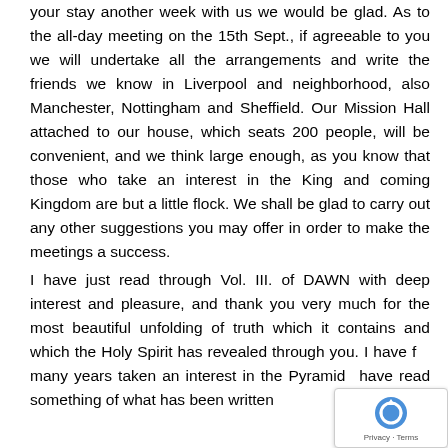your stay another week with us we would be glad. As to the all-day meeting on the 15th Sept., if agreeable to you we will undertake all the arrangements and write the friends we know in Liverpool and neighborhood, also Manchester, Nottingham and Sheffield. Our Mission Hall attached to our house, which seats 200 people, will be convenient, and we think large enough, as you know that those who take an interest in the King and coming Kingdom are but a little flock. We shall be glad to carry out any other suggestions you may offer in order to make the meetings a success.
I have just read through Vol. III. of DAWN with deep interest and pleasure, and thank you very much for the most beautiful unfolding of truth which it contains and which the Holy Spirit has revealed through you. I have for many years taken an interest in the Pyramid and have read something of what has been written